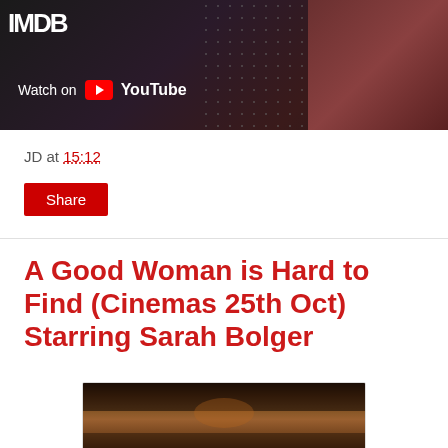[Figure (screenshot): YouTube video thumbnail showing IMDB logo and 'Watch on YouTube' badge with play button, dark background with dotted pattern and face visible on right]
JD at 15:12
Share
A Good Woman is Hard to Find (Cinemas 25th Oct) Starring Sarah Bolger
[Figure (photo): Movie still showing a woman with blood on her face holding something above her head, dark bedroom scene]